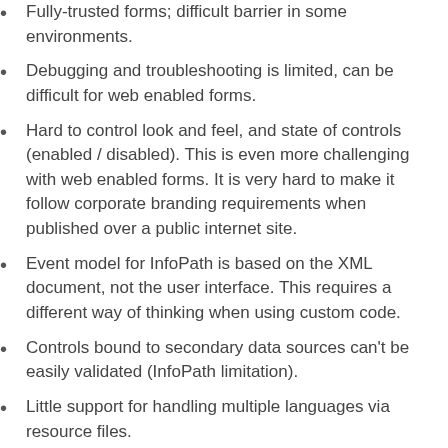Fully-trusted forms; difficult barrier in some environments.
Debugging and troubleshooting is limited, can be difficult for web enabled forms.
Hard to control look and feel, and state of controls (enabled / disabled). This is even more challenging with web enabled forms. It is very hard to make it follow corporate branding requirements when published over a public internet site.
Event model for InfoPath is based on the XML document, not the user interface. This requires a different way of thinking when using custom code.
Controls bound to secondary data sources can't be easily validated (InfoPath limitation).
Little support for handling multiple languages via resource files.
Can only be used with an InfoPath Integrated process -- can't use with a SharePoint integrated